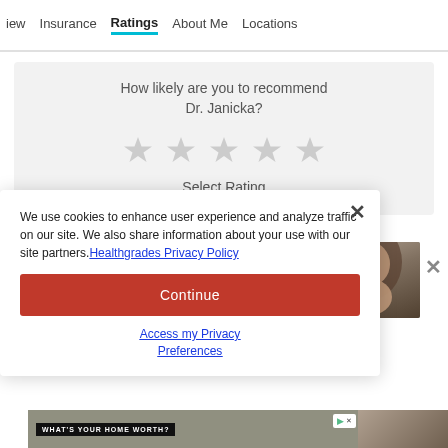iew   Insurance   Ratings   About Me   Locations
How likely are you to recommend Dr. Janicka?
[Figure (other): Five empty grey star icons for rating selection]
Select Rating
ADVERTISEMENT
[Figure (photo): Advertisement banner showing '5-star' text with woman's photo]
We use cookies to enhance user experience and analyze traffic on our site. We also share information about your use with our site partners. Healthgrades Privacy Policy
Continue
Access my Privacy Preferences